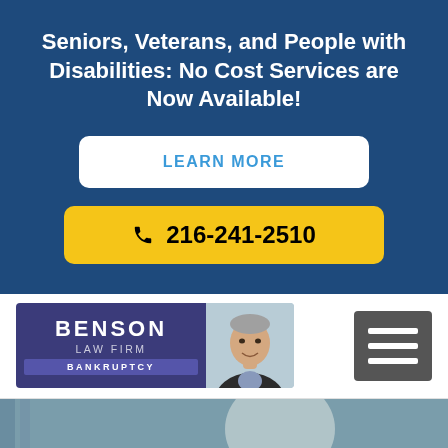Seniors, Veterans, and People with Disabilities: No Cost Services are Now Available!
LEARN MORE
216-241-2510
[Figure (logo): Benson Law Firm Bankruptcy logo with attorney headshot photo and hamburger menu icon]
How Does